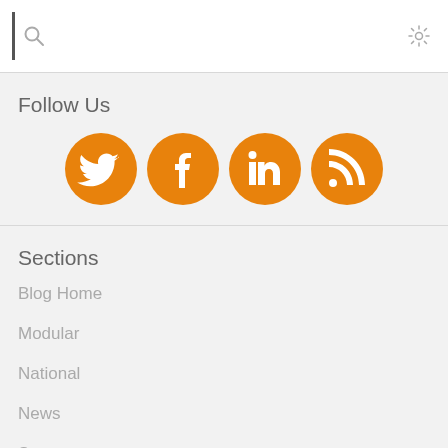[Figure (screenshot): Top search bar area with cursor bar, search icon, and settings/sun icon in top right]
Follow Us
[Figure (infographic): Four orange circular social media icons: Twitter, Facebook, LinkedIn, RSS]
Sections
Blog Home
Modular
National
News
Store